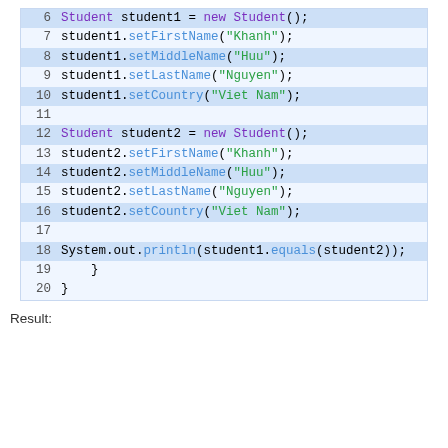[Figure (screenshot): Java code snippet showing creation of two Student objects with setFirstName, setMiddleName, setLastName, setCountry method calls and a System.out.println comparing them with equals, lines 6-20]
Result: